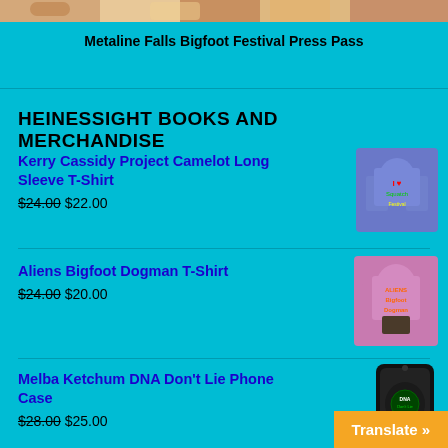[Figure (photo): Top strip showing people at what appears to be a festival or event, cropped to show upper portion of faces/heads]
Metaline Falls Bigfoot Festival Press Pass
HEINESSIGHT BOOKS AND MERCHANDISE
Kerry Cassidy Project Camelot Long Sleeve T-Shirt $24.00 $22.00
[Figure (photo): Blue long sleeve t-shirt with I Love design]
Aliens Bigfoot Dogman T-Shirt $24.00 $20.00
[Figure (photo): Purple t-shirt with Aliens Bigfoot Dogman text and image]
Melba Ketchum DNA Don't Lie Phone Case $28.00 $25.00
[Figure (photo): Black phone case with DNA Don't Lie design]